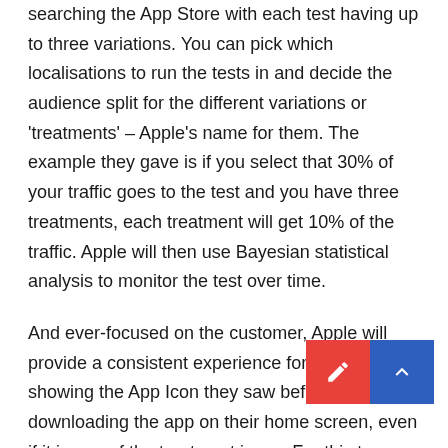searching the App Store with each test having up to three variations. You can pick which localisations to run the tests in and decide the audience split for the different variations or 'treatments' – Apple's name for them. The example they gave is if you select that 30% of your traffic goes to the test and you have three treatments, each treatment will get 10% of the traffic. Apple will then use Bayesian statistical analysis to monitor the test over time.
And ever-focused on the customer, Apple will provide a consistent experience for users by showing the App Icon they saw before downloading the app on their home screen, even if it is one of the treatment icons. For this to happen, developers will need to include the treatment icon assets in their app binaries for all the applicable device sizes and th... version. To test App Preview and Screenshot variations, the